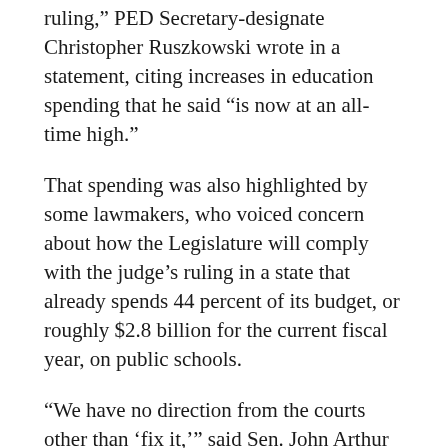ruling,” PED Secretary-designate Christopher Ruszkowski wrote in a statement, citing increases in education spending that he said “is now at an all-time high.”
That spending was also highlighted by some lawmakers, who voiced concern about how the Legislature will comply with the judge’s ruling in a state that already spends 44 percent of its budget, or roughly $2.8 billion for the current fiscal year, on public schools.
“We have no direction from the courts other than ‘fix it,’ ” said Sen. John Arthur Smith, D-Deming, chairman of the Senate Finance Committee.
He also said lawmakers should consider